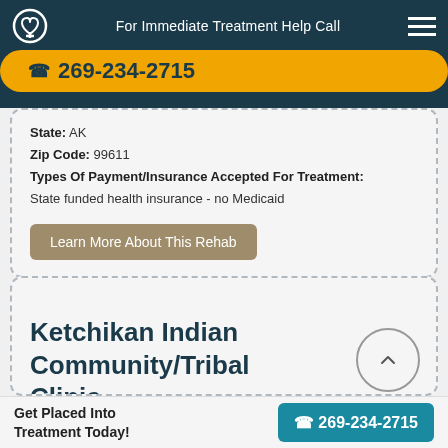For Immediate Treatment Help Call 269-234-2715
State: AK
Zip Code: 99611
Types Of Payment/Insurance Accepted For Treatment:
State funded health insurance - no Medicaid
Learn More About This Rehab
Ketchikan Indian Community/Tribal Clinic Behavioral Health Department
Get Placed Into Treatment Today!
269-234-2715